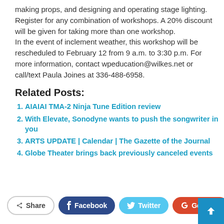making props, and designing and operating stage lighting. Register for any combination of workshops. A 20% discount will be given for taking more than one workshop.
In the event of inclement weather, this workshop will be rescheduled to February 12 from 9 a.m. to 3:30 p.m. For more information, contact wpeducation@wilkes.net or call/text Paula Joines at 336-488-6958.
Related Posts:
AIAIAI TMA-2 Ninja Tune Edition review
With Elevate, Sonodyne wants to push the songwriter in you
ARTS UPDATE | Calendar | The Gazette of the Journal
Globe Theater brings back previously canceled events